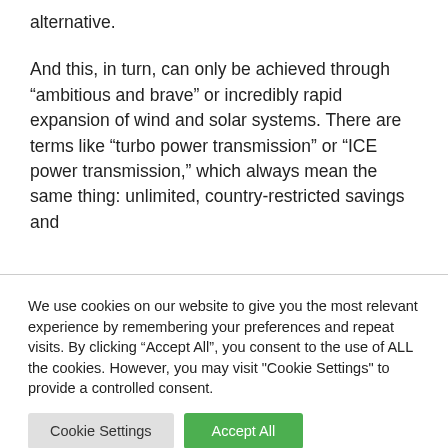alternative.
And this, in turn, can only be achieved through “ambitious and brave” or incredibly rapid expansion of wind and solar systems. There are terms like “turbo power transmission” or “ICE power transmission,” which always mean the same thing: unlimited, country-restricted savings and
We use cookies on our website to give you the most relevant experience by remembering your preferences and repeat visits. By clicking “Accept All”, you consent to the use of ALL the cookies. However, you may visit "Cookie Settings" to provide a controlled consent.
Cookie Settings
Accept All